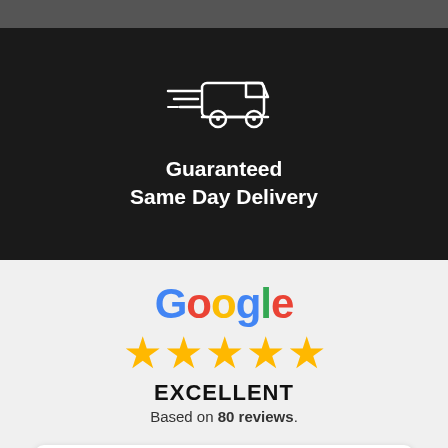[Figure (illustration): Dark background section with a white line-art icon of a delivery van with speed lines, centered at the top]
Guaranteed Same Day Delivery
[Figure (logo): Google logo in multicolor letters (blue, red, yellow, blue, green, red)]
[Figure (illustration): Five gold stars rating]
EXCELLENT
Based on 80 reviews.
Scott Ellis
04/08/2022